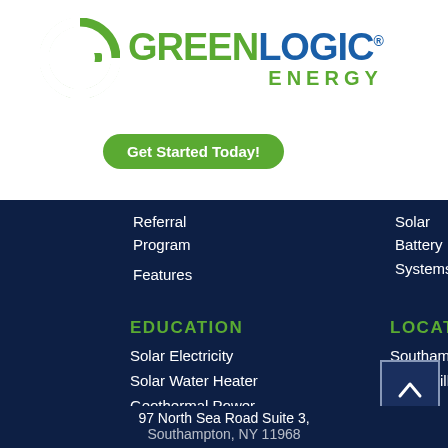[Figure (logo): GreenLogic Energy logo with green G icon and GREENLOGIC ENERGY text]
Get Started Today!
ss
uction
Referral Program
Solar Battery Systems
Features
EDUCATION
LOCATIONS
Solar Electricity
Southampton
Solar Water Heater
Manorville
Geothermal Power
Roslyn
Wind Power
Solar Pool Heating
97 North Sea Road Suite 3, Southampton, NY 11968